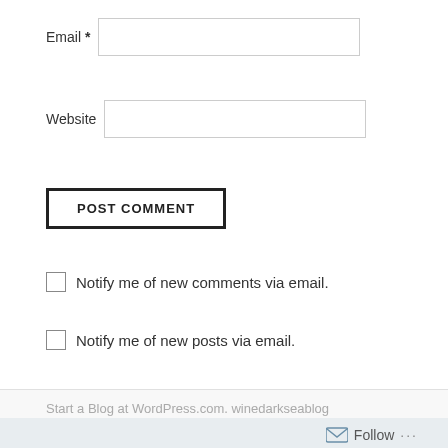Email *
Website
POST COMMENT
Notify me of new comments via email.
Notify me of new posts via email.
Start a Blog at WordPress.com. winedarkseablog
Follow ...